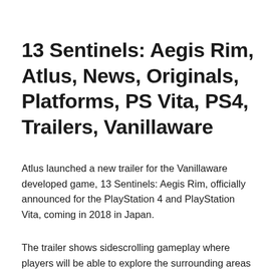13 Sentinels: Aegis Rim, Atlus, News, Originals, Platforms, PS Vita, PS4, Trailers, Vanillaware
Atlus launched a new trailer for the Vanillaware developed game, 13 Sentinels: Aegis Rim, officially announced for the PlayStation 4 and PlayStation Vita, coming in 2018 in Japan.
The trailer shows sidescrolling gameplay where players will be able to explore the surrounding areas and interact